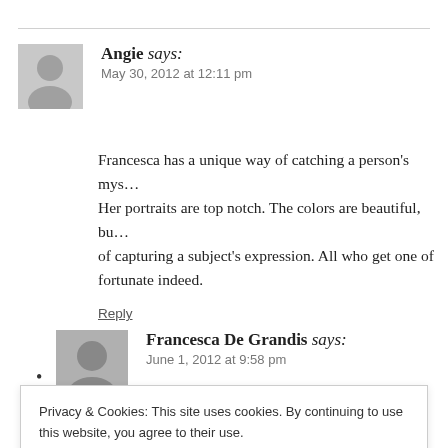Angie says: May 30, 2012 at 12:11 pm
Francesca has a unique way of catching a person’s mys... Her portraits are top notch. The colors are beautiful, bu... of capturing a subject’s expression. All who get one of fortunate indeed.
Reply
Francesca De Grandis says: June 1, 2012 at 9:58 pm
Privacy & Cookies: This site uses cookies. By continuing to use this website, you agree to their use.
To find out more, including how to control cookies, see here: Cookie Policy
Close and accept